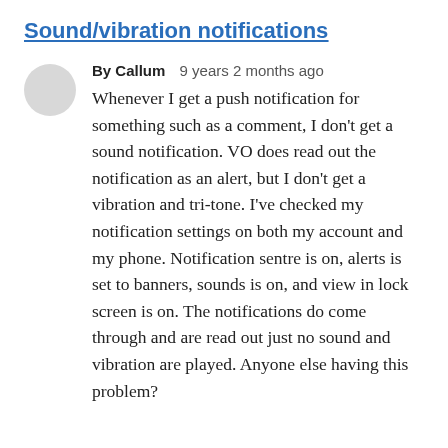Sound/vibration notifications
By Callum   9 years 2 months ago
Whenever I get a push notification for something such as a comment, I don't get a sound notification. VO does read out the notification as an alert, but I don't get a vibration and tri-tone. I've checked my notification settings on both my account and my phone. Notification sentre is on, alerts is set to banners, sounds is on, and view in lock screen is on. The notifications do come through and are read out just no sound and vibration are played. Anyone else having this problem?